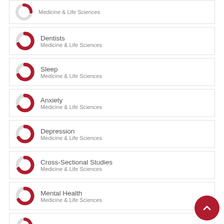[Figure (other): Donut chart icon for Medicine & Life Sciences (partial top item)]
Medicine & Life Sciences
[Figure (donut-chart): Donut chart icon for Dentists / Medicine & Life Sciences]
Dentists
Medicine & Life Sciences
[Figure (donut-chart): Donut chart icon for Sleep / Medicine & Life Sciences]
Sleep
Medicine & Life Sciences
[Figure (donut-chart): Donut chart icon for Anxiety / Medicine & Life Sciences]
Anxiety
Medicine & Life Sciences
[Figure (donut-chart): Donut chart icon for Depression / Medicine & Life Sciences]
Depression
Medicine & Life Sciences
[Figure (donut-chart): Donut chart icon for Cross-Sectional Studies / Medicine & Life Sciences]
Cross-Sectional Studies
Medicine & Life Sciences
[Figure (donut-chart): Donut chart icon for Mental Health / Medicine & Life Sciences]
Mental Health
Medicine & Life Sciences